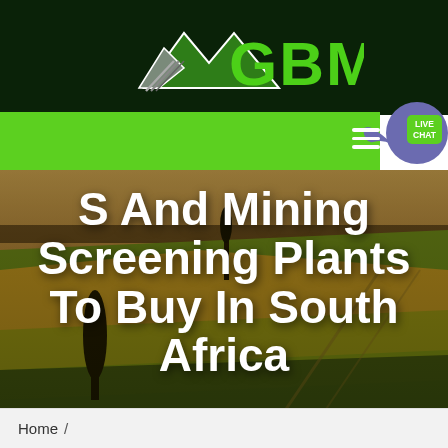[Figure (logo): GBM company logo with green mountain/arrow graphic and green GBM text on dark green background]
[Figure (infographic): Green navigation bar with hamburger menu icon and Live Chat bubble in blue/purple]
S And Mining Screening Plants To Buy In South Africa
[Figure (photo): Aerial landscape photo with golden fields, green areas and trees, used as hero background]
Home /